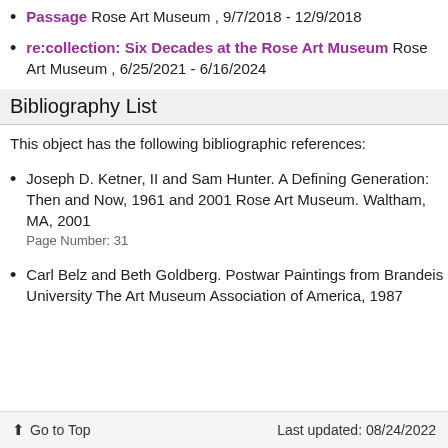Passage Rose Art Museum , 9/7/2018 - 12/9/2018
re:collection: Six Decades at the Rose Art Museum Rose Art Museum , 6/25/2021 - 6/16/2024
Bibliography List
This object has the following bibliographic references:
Joseph D. Ketner, II and Sam Hunter. A Defining Generation: Then and Now, 1961 and 2001 Rose Art Museum. Waltham, MA, 2001
Page Number: 31
Carl Belz and Beth Goldberg. Postwar Paintings from Brandeis University The Art Museum Association of America, 1987
Go to Top    Last updated: 08/24/2022